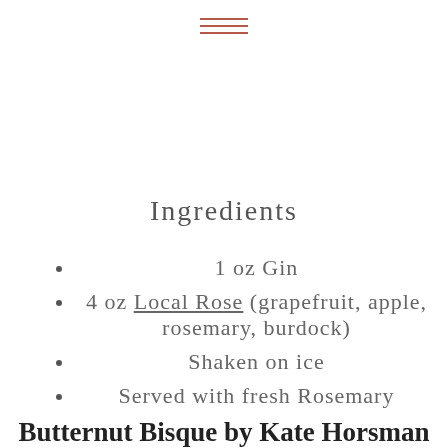[Figure (other): Hamburger menu icon with three horizontal red lines]
Ingredients
1 oz Gin
4 oz Local Rose (grapefruit, apple, rosemary, burdock)
Shaken on ice
Served with fresh Rosemary
Butternut Bisque by Kate Horsman